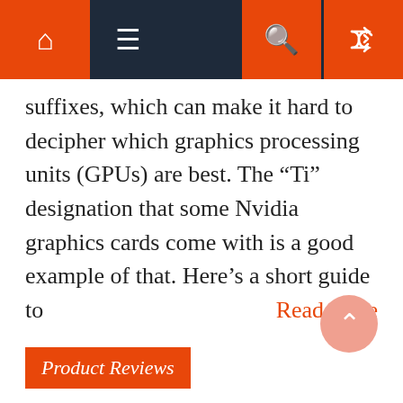Navigation bar with home, menu, search, and shuffle icons
suffixes, which can make it hard to decipher which graphics processing units (GPUs) are best. The “Ti” designation that some Nvidia graphics cards come with is a good example of that. Here’s a short guide to
Read more
Product Reviews